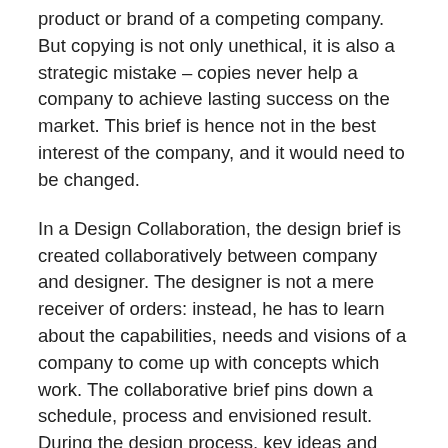product or brand of a competing company. But copying is not only unethical, it is also a strategic mistake – copies never help a company to achieve lasting success on the market. This brief is hence not in the best interest of the company, and it would need to be changed.
In a Design Collaboration, the design brief is created collaboratively between company and designer. The designer is not a mere receiver of orders: instead, he has to learn about the capabilities, needs and visions of a company to come up with concepts which work. The collaborative brief pins down a schedule, process and envisioned result. During the design process, key ideas and milestones are shared and discussed with key people in the company. Finally, the designer helps with suggestions for production, promotion and product launch.